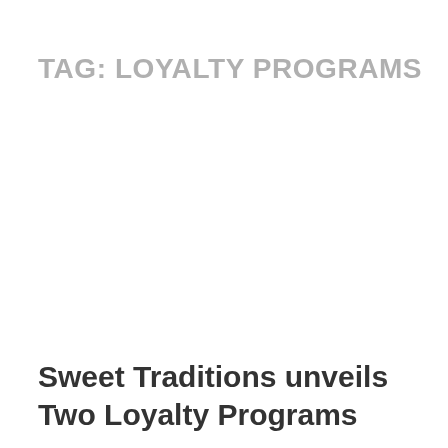TAG: LOYALTY PROGRAMS
Sweet Traditions unveils Two Loyalty Programs